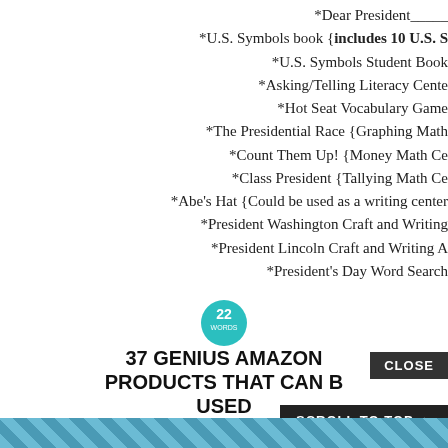*Dear President_____
*U.S. Symbols book {includes 10 U.S. S…
*U.S. Symbols Student Book…
*Asking/Telling Literacy Cente…
*Hot Seat Vocabulary Game
*The Presidential Race {Graphing Math…
*Count Them Up! {Money Math Ce…
*Class President {Tallying Math Ce…
*Abe's Hat {Could be used as a writing center…
*President Washington Craft and Writing…
*President Lincoln Craft and Writing A…
*President's Day Word Search…
[Figure (logo): 22 Words teal circular badge]
37 GENIUS AMAZON PRODUCTS THAT CAN BE USED…